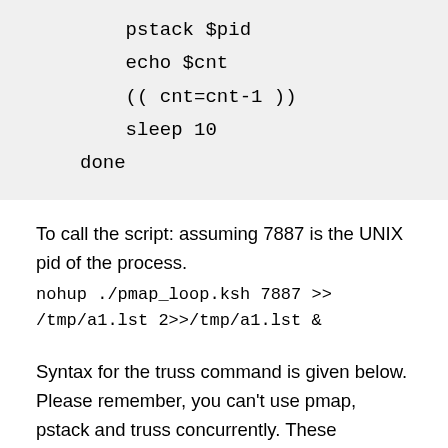pstack $pid
    echo $cnt
    (( cnt=cnt-1 ))
    sleep 10
done
To call the script: assuming 7887 is the UNIX pid of the process.
nohup ./pmap_loop.ksh 7887 >> /tmp/a1.lst 2>>/tmp/a1.lst &
Syntax for the truss command is given below. Please remember, you can't use pmap, pstack and truss concurrently. These commands stops the process (however short that may be!) and inspects them, so use these commands sparingly. [ I had a client who used to run